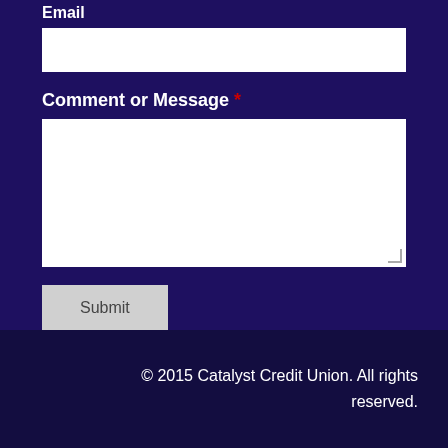Email
Comment or Message *
Submit
© 2015 Catalyst Credit Union. All rights reserved.